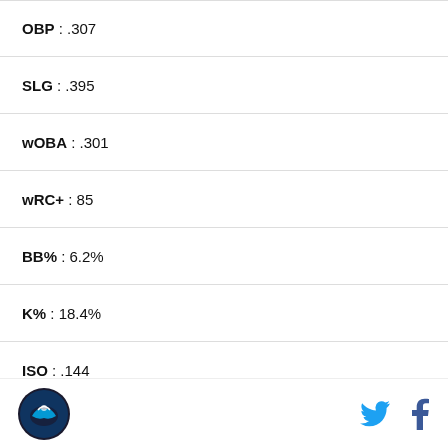| Stat | Value |
| --- | --- |
| OBP | .307 |
| SLG | .395 |
| wOBA | .301 |
| wRC+ | 85 |
| BB% | 6.2% |
| K% | 18.4% |
| ISO | .144 |
| BABIP | .285 |
| Off | -9.5 |
| Def | 8.4 |
| WAR | 1 |